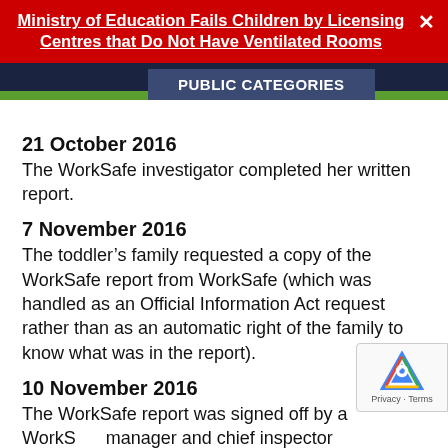Ministry of Education Fails Children by Licensing Centres that Do Not Have Ventilated Rooms
PUBLIC CATEGORIES
21 October 2016
The WorkSafe investigator completed her written report.
7 November 2016
The toddler’s family requested a copy of the WorkSafe report from WorkSafe (which was handled as an Official Information Act request rather than as an automatic right of the family to know what was in the report).
10 November 2016
The WorkSafe report was signed off by a WorkSafe manager and chief inspector
11 November 2016